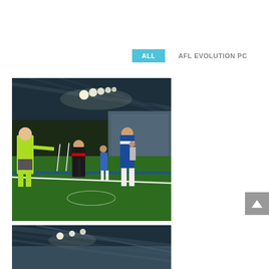ALL
AFL EVOLUTION PC
[Figure (screenshot): AFL Evolution video game screenshot showing players on a football field at night in a stadium, with a referee in yellow/green, players in black/white and blue/white jerseys.]
[Figure (screenshot): Partial AFL Evolution video game screenshot showing stadium rooftop structure, cropped at bottom of page.]